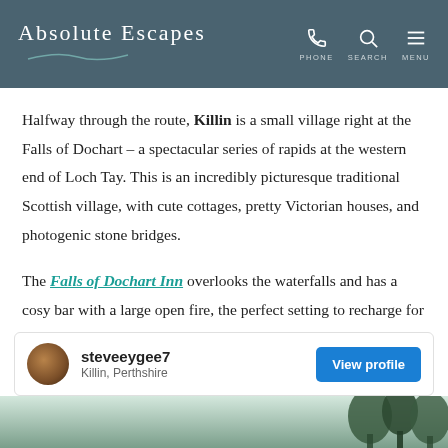Absolute Escapes — PHONE SEARCH MENU
Halfway through the route, Killin is a small village right at the Falls of Dochart – a spectacular series of rapids at the western end of Loch Tay. This is an incredibly picturesque traditional Scottish village, with cute cottages, pretty Victorian houses, and photogenic stone bridges.
The Falls of Dochart Inn overlooks the waterfalls and has a cosy bar with a large open fire, the perfect setting to recharge for the rest of your walk!
[Figure (screenshot): Social media profile card for user steveeygee7, located in Killin, Perthshire, with a View profile button]
[Figure (photo): Partial photo strip at bottom of page showing outdoor scenery with trees]